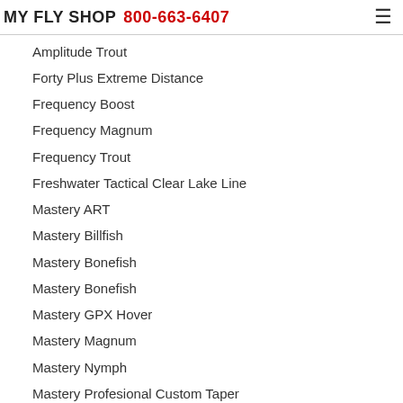MY FLY SHOP 800-663-6407
Amplitude Trout
Forty Plus Extreme Distance
Frequency Boost
Frequency Magnum
Frequency Trout
Freshwater Tactical Clear Lake Line
Mastery ART
Mastery Billfish
Mastery Bonefish
Mastery Bonefish
Mastery GPX Hover
Mastery Magnum
Mastery Nymph
Mastery Profesional Custom Taper
Mastery Redfish
Mastery Saltwater
Mastery Saltwater Clear Tip